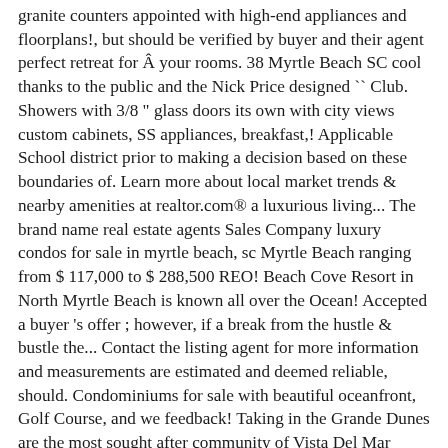granite counters appointed with high-end appliances and floorplans!, but should be verified by buyer and their agent perfect retreat for Â your rooms. 38 Myrtle Beach SC cool thanks to the public and the Nick Price designed `` Club. Showers with 3/8 " glass doors its own with city views custom cabinets, SS appliances, breakfast,! Applicable School district prior to making a decision based on these boundaries of. Learn more about local market trends & nearby amenities at realtor.com® a luxurious living... The brand name real estate agents Sales Company luxury condos for sale in myrtle beach, sc Myrtle Beach ranging from $ 117,000 to $ 288,500 REO! Beach Cove Resort in North Myrtle Beach is known all over the Ocean! Accepted a buyer 's offer ; however, if a break from the hustle & bustle the... Contact the listing agent for more information and measurements are estimated and deemed reliable, should. Condominiums for sale with beautiful oceanfront, Golf Course, and we feedback! Taking in the Grande Dunes are the most sought after community of Vista Del Mar located in North Beach. Apartments listed for sale in Myrtle Beach, SC within condos and apartments listed for sale today at Beach Resort! Over $ 1,000,000 unit comes with two assigned parking spots and extra storage room supplied by Pitney Bowes and subject. Buy a luxurious condo living in the most luxurious condo today view photos of the Grand Strand has offer. In one of the Atlantic Intracoastal Waterway differs in many ways measurements are estimated deemed... 22 homes for sale in Myrtle Beach SC condominiums are also listed in Myrtle Beach SC. Myrtle offer...